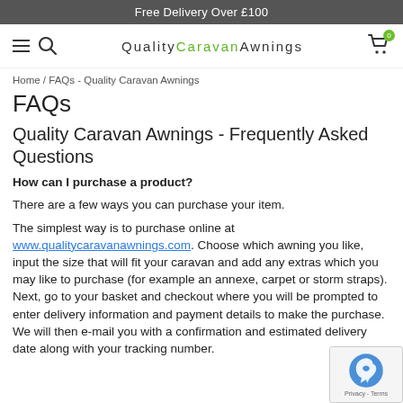Free Delivery Over £100
[Figure (screenshot): Navigation bar with hamburger menu, search icon, Quality Caravan Awnings logo, and shopping cart icon with badge showing 0]
Home / FAQs - Quality Caravan Awnings
FAQs
Quality Caravan Awnings - Frequently Asked Questions
How can I purchase a product?
There are a few ways you can purchase your item.
The simplest way is to purchase online at www.qualitycaravanawnings.com. Choose which awning you like, input the size that will fit your caravan and add any extras which you may like to purchase (for example an annexe, carpet or storm straps). Next, go to your basket and checkout where you will be prompted to enter delivery information and payment details to make the purchase. We will then e-mail you with a confirmation and estimated delivery date along with your tracking number.